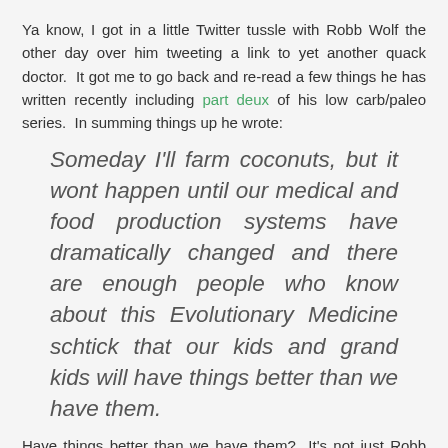Ya know, I got in a little Twitter tussle with Robb Wolf the other day over him tweeting a link to yet another quack doctor.  It got me to go back and re-read a few things he has written recently including part deux of his low carb/paleo series.  In summing things up he wrote:
Someday I'll farm coconuts, but it wont happen until our medical and food production systems have dramatically changed and there are enough people who know about this Evolutionary Medicine schtick that our kids and grand kids will have things better than we have them.
Have things better than we have them?  It's not just Robb here, it...